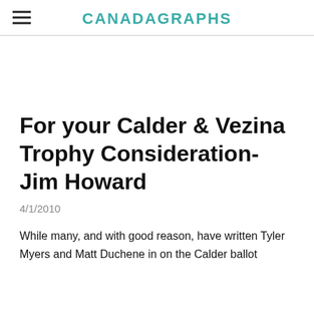CANADAGRAPHS
For your Calder & Vezina Trophy Consideration- Jim Howard
4/1/2010
While many, and with good reason, have written Tyler Myers and Matt Duchene in on the Calder ballot